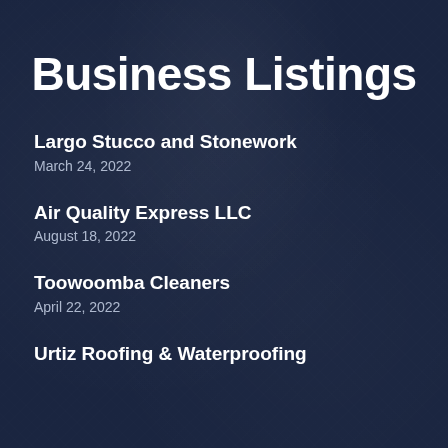Business Listings
Largo Stucco and Stonework
March 24, 2022
Air Quality Express LLC
August 18, 2022
Toowoomba Cleaners
April 22, 2022
Urtiz Roofing & Waterproofing